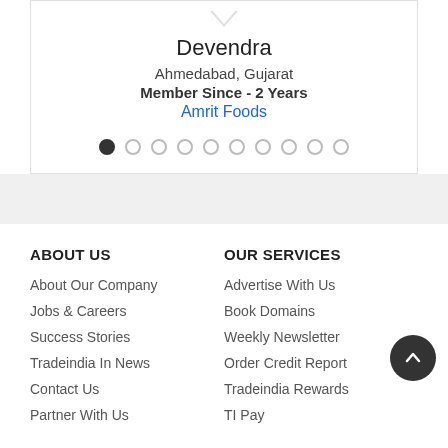Devendra
Ahmedabad, Gujarat
Member Since - 2 Years
Amrit Foods
ABOUT US
About Our Company
Jobs & Careers
Success Stories
Tradeindia In News
Contact Us
Partner With Us
OUR SERVICES
Advertise With Us
Book Domains
Weekly Newsletter
Order Credit Report
Tradeindia Rewards
TI Pay